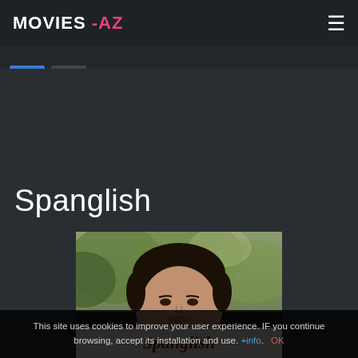MOVIES -AZ
Spanglish
[Figure (photo): Movie poster for Spanglish showing a young woman with dark hair and bangs smiling, with trees in background; the title 'Spanglish' appears in red text at the bottom of the poster]
This site uses cookies to improve your user experience. IF you continue browsing, accept its installation and use. +info. OK